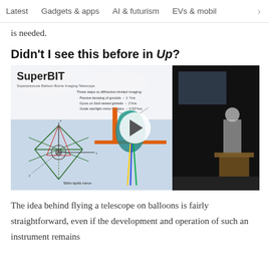Latest   Gadgets & apps   AI & futurism   EVs & mobil >
is needed.
Didn't I see this before in Up?
[Figure (screenshot): Embedded video screenshot showing a SuperBIT telescope presentation slide on the left with diagrams of the balloon telescope system, and a lecturer at a podium on the right. A play button is overlaid in the center.]
The idea behind flying a telescope on balloons is fairly straightforward, even if the development and operation of such an instrument remains